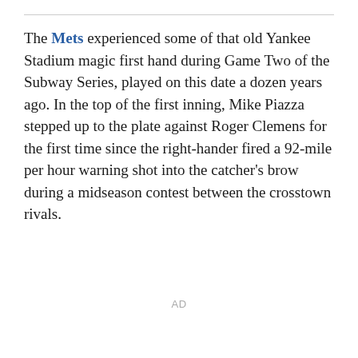The Mets experienced some of that old Yankee Stadium magic first hand during Game Two of the Subway Series, played on this date a dozen years ago. In the top of the first inning, Mike Piazza stepped up to the plate against Roger Clemens for the first time since the right-hander fired a 92-mile per hour warning shot into the catcher's brow during a midseason contest between the crosstown rivals.
AD